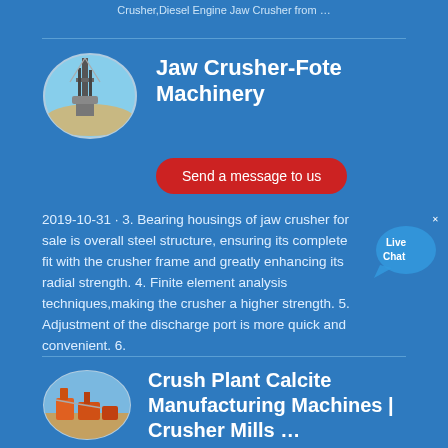Crusher,Diesel Engine Jaw Crusher from …
[Figure (photo): Oval-framed photo of industrial crusher/machinery facility against a sky background]
Jaw Crusher-Fote Machinery
Send a message to us
2019-10-31 · 3. Bearing housings of jaw crusher for sale is overall steel structure, ensuring its complete fit with the crusher frame and greatly enhancing its radial strength. 4. Finite element analysis techniques,making the crusher a higher strength. 5. Adjustment of the discharge port is more quick and convenient. 6.
[Figure (illustration): Live Chat speech bubble icon with 'Live Chat' text and a close X button]
[Figure (photo): Oval-framed photo of a crush plant calcite manufacturing machine at a desert site]
Crush Plant Calcite Manufacturing Machines | Crusher Mills …